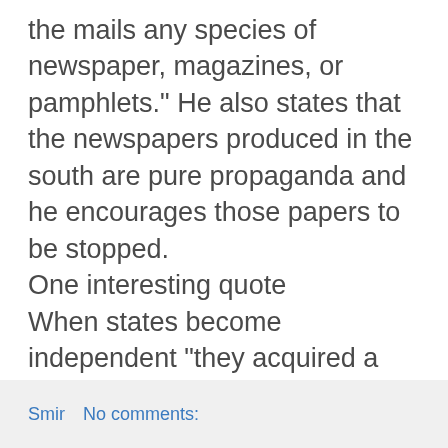the mails any species of newspaper, magazines, or pamphlets." He also states that the newspapers produced in the south are pure propaganda and he encourages those papers to be stopped.
One interesting quote
When states become independent "they acquired a right to prohibit the circulation of papers within their territory; and their power over the subject of slavery and all its incidents, was in no degree diminished by the adoption of the federal constitution."
Smir    No comments: